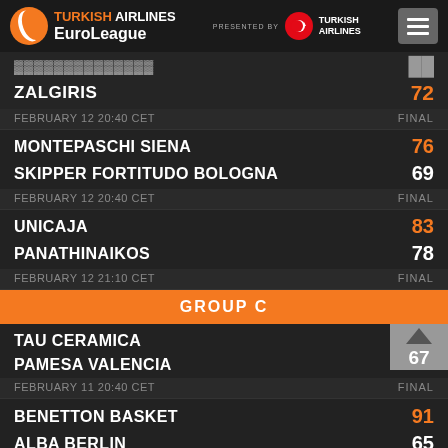Turkish Airlines EuroLeague — presented by Turkish Airlines
ZALGIRIS 72 / FEBRUARY 12 20:40 CET — FINAL
MONTEPASCHI SIENA 76 / SKIPPER FORTITUDO BOLOGNA 69 / FEBRUARY 12 20:40 CET — FINAL
UNICAJA 83 / PANATHINAIKOS 78 / FEBRUARY 12 21:10 CET — FINAL
GROUP C
TAU CERAMICA 73 / PAMESA VALENCIA 67 / FEBRUARY 11 20:40 CET — FINAL
BENETTON BASKET 91 / ALBA BERLIN 65